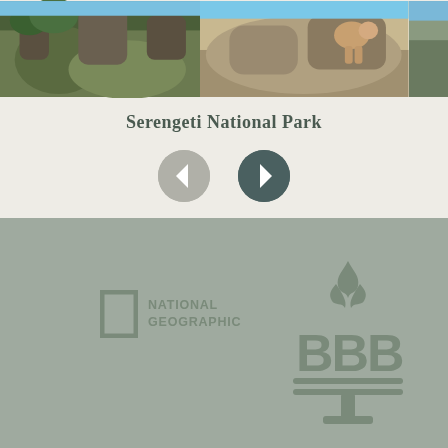[Figure (photo): Photo strip showing rocky African landscape with boulders and a lion resting on rocks, with trees and blue sky visible]
Serengeti National Park
[Figure (illustration): Navigation buttons: left arrow (gray circle) and right arrow (dark teal circle)]
[Figure (logo): National Geographic logo - yellow rectangle outline with NATIONAL GEOGRAPHIC text]
[Figure (logo): Better Business Bureau (BBB) logo with torch flame icon above BBB letters and horizontal bars below]